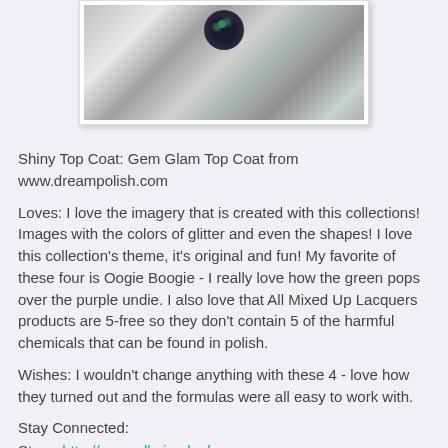[Figure (photo): Close-up photo of a glittery silver nail polish bottle top with sparkling holographic glitter and a dark cap, shown against a white background]
Shiny Top Coat: Gem Glam Top Coat from www.dreampolish.com
Loves:  I love the imagery that is created with this collections!  Images with the colors of glitter and even the shapes!  I love this collection's theme, it's original and fun!  My favorite of these four is Oogie Boogie - I really love how the green pops over the purple undie.  I also love that All Mixed Up Lacquers products are 5-free so they don't contain 5 of the harmful chemicals that can be found in polish.
Wishes:  I wouldn't change anything with these 4 - love how they turned out and the formulas were all easy to work with.
Stay Connected:
Store: http://www.allmixeduplacquers.com